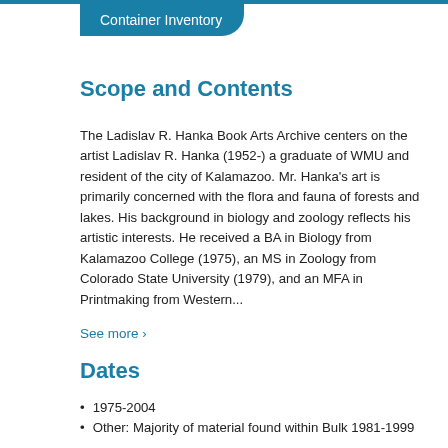Container Inventory
Scope and Contents
The Ladislav R. Hanka Book Arts Archive centers on the artist Ladislav R. Hanka (1952-) a graduate of WMU and resident of the city of Kalamazoo. Mr. Hanka's art is primarily concerned with the flora and fauna of forests and lakes. His background in biology and zoology reflects his artistic interests. He received a BA in Biology from Kalamazoo College (1975), an MS in Zoology from Colorado State University (1979), and an MFA in Printmaking from Western...
See more >
Dates
1975-2004
Other: Majority of material found within Bulk 1981-1999